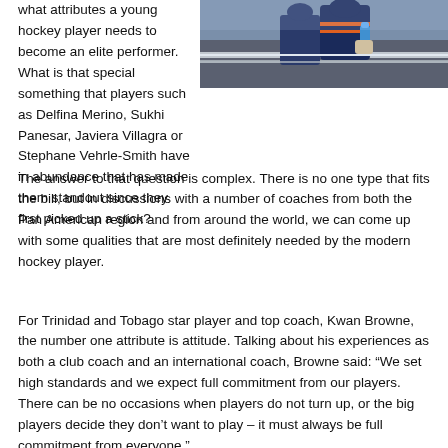what attributes a young hockey player needs to become an elite performer. What is that special something that players such as Delfina Merino, Sukhi Panesar, Javiera Villagra or Stephane Vehrle-Smith have in abundance that has made them standout since they first picked up a stick?
[Figure (photo): Photo of a hockey player or coach holding a water bottle near a rink railing, wearing a dark blue jersey with orange stripes]
The answer to that question is complex. There is no one type that fits the bill, but in discussions with a number of coaches from both the Pan American region and from around the world, we can come up with some qualities that are most definitely needed by the modern hockey player.
For Trinidad and Tobago star player and top coach, Kwan Browne, the number one attribute is attitude. Talking about his experiences as both a club coach and an international coach, Browne said: “We set high standards and we expect full commitment from our players. There can be no occasions when players do not turn up, or the big players decide they don’t want to play – it must always be full commitment from everyone.”